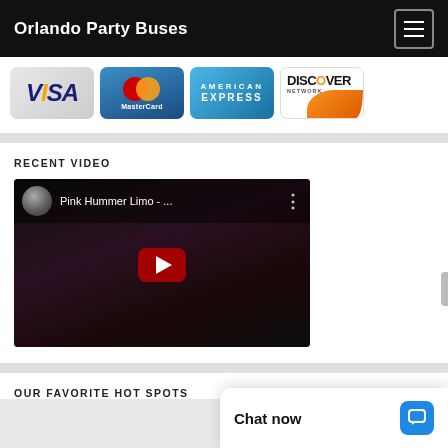Orlando Party Buses
[Figure (logo): Payment method logos: VISA, MasterCard, American Express, Discover Network]
RECENT VIDEO
[Figure (screenshot): YouTube video thumbnail for Pink Hummer Limo with play button]
OUR FAVORITE HOT SPOTS
[Figure (other): Chat now button overlay with speech bubble icon]